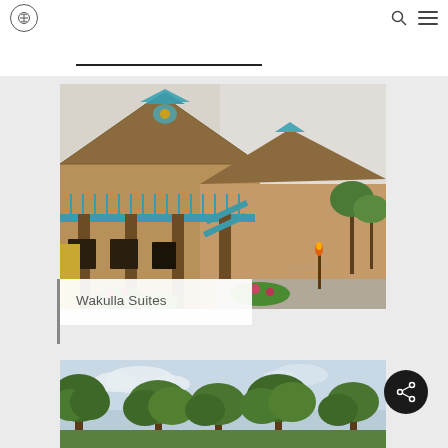Navigation bar with logo, search icon, and menu icon
[Figure (photo): Photo of Wakulla Suites hotel exterior showing a tropical-themed two-story building with teal/blue decorative railings, carved wooden columns, ornate roofline details, and lush landscaping]
Wakulla Suites
[Figure (photo): Photo showing trees and foliage against a partly cloudy sky, likely exterior grounds of a resort property]